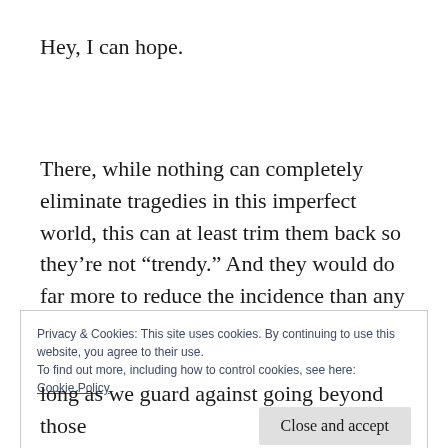Hey, I can hope.
There, while nothing can completely eliminate tragedies in this imperfect world, this can at least trim them back so they’re not “trendy.” And they would do far more to reduce the incidence than any “gun control” ever can.
Privacy & Cookies: This site uses cookies. By continuing to use this website, you agree to their use.
To find out more, including how to control cookies, see here: Cookie Policy
Close and accept
long as we guard against going beyond those